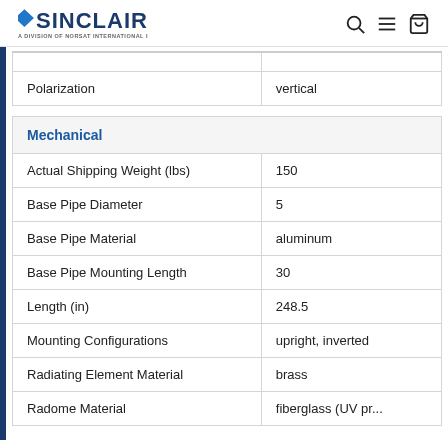SINCLAIR — A Division of Norsat International Inc.
| Property | Value |
| --- | --- |
| Polarization | vertical |
| Property | Value |
| --- | --- |
| Mechanical |  |
| Actual Shipping Weight (lbs) | 150 |
| Base Pipe Diameter | 5 |
| Base Pipe Material | aluminum |
| Base Pipe Mounting Length | 30 |
| Length (in) | 248.5 |
| Mounting Configurations | upright, inverted |
| Radiating Element Material | brass |
| Radome Material | fiberglass (UV pr... |